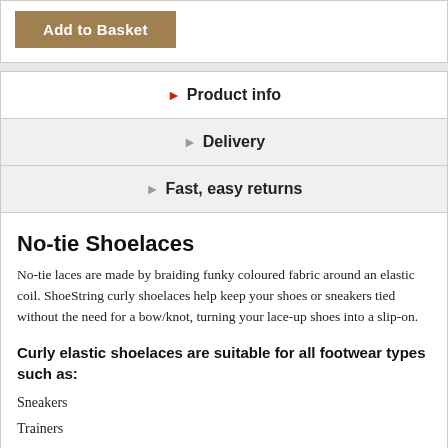Add to Basket
Product info
Delivery
Fast, easy returns
No-tie Shoelaces
No-tie laces are made by braiding funky coloured fabric around an elastic coil. ShoeString curly shoelaces help keep your shoes or sneakers tied without the need for a bow/knot, turning your lace-up shoes into a slip-on.
Curly elastic shoelaces are suitable for all footwear types such as:
Sneakers
Trainers
Sports Shoes
School Shoes
Looking for laces for a certain type of shoe?